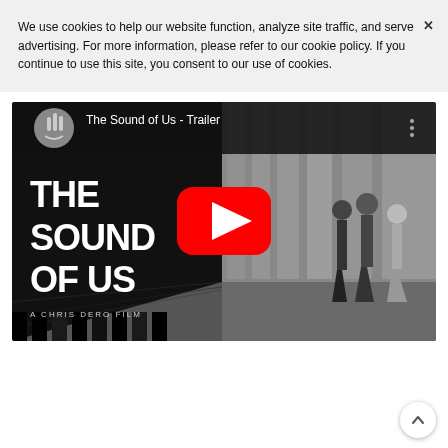We use cookies to help our website function, analyze site traffic, and serve advertising. For more information, please refer to our cookie policy. If you continue to use this site, you consent to our use of cookies.
[Figure (screenshot): YouTube video thumbnail for 'The Sound of Us - Trailer' by A Chris Dero Film. Shows black and white film poster style image with abstract human-like figures, YouTube play button overlay, and channel logo in top left.]